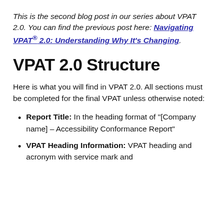This is the second blog post in our series about VPAT 2.0. You can find the previous post here: Navigating VPAT® 2.0: Understanding Why It's Changing.
VPAT 2.0 Structure
Here is what you will find in VPAT 2.0. All sections must be completed for the final VPAT unless otherwise noted:
Report Title: In the heading format of "[Company name] – Accessibility Conformance Report"
VPAT Heading Information: VPAT heading and acronym with service mark and